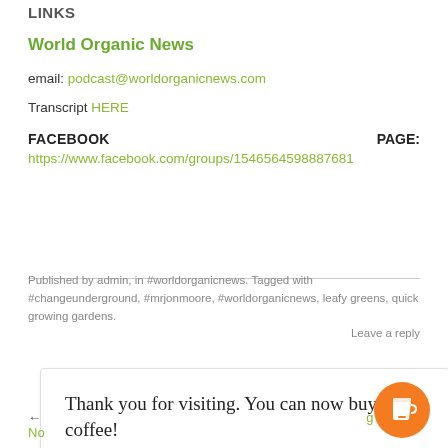LINKS
World Organic News
email: podcast@worldorganicnews.com
Transcript HERE
FACEBOOK PAGE: https://www.facebook.com/groups/1546564598887681
Published by admin, in #worldorganicnews. Tagged with #changeunderground, #mrjonmoore, #worldorganicnews, leafy greens, quick growing gardens. Leave a reply
Thank you for visiting. You can now buy me a coffee!